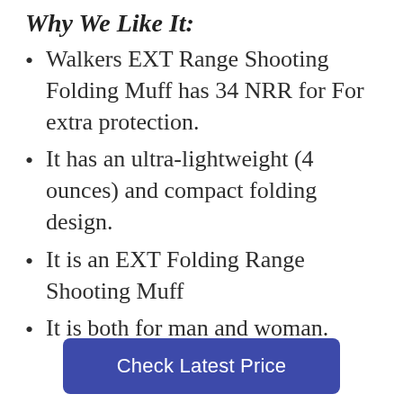Why We Like It:
Walkers EXT Range Shooting Folding Muff has 34 NRR for For extra protection.
It has an ultra-lightweight (4 ounces) and compact folding design.
It is  an EXT Folding Range Shooting Muff
It is both for man and woman.
Check Latest Price